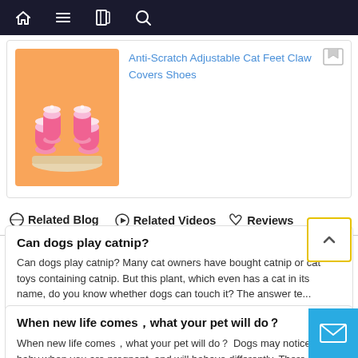Navigation bar with home, menu, book, and search icons
[Figure (photo): Pink cat paw anti-scratch claw covers/shoes displayed on an orange background]
Anti-Scratch Adjustable Cat Feet Claw Covers Shoes
Related Blog | Related Videos | Reviews
Can dogs play catnip?
Can dogs play catnip? Many cat owners have bought catnip or cat toys containing catnip. But this plant, which even has a cat in its name, do you know whether dogs can touch it? The answer te...
When new life comes，what your pet will do？
When new life comes，what your pet will do？ Dogs may notice your baby when you are pregnant, and will behave differently. There are some reasons. Olfactory perception There is currently no...
Key Trend: Pets On-the-Go
With pandemic travel restrictions lifting and outdoor activities still popular, owners are looking for easy ways to travel with their pet...